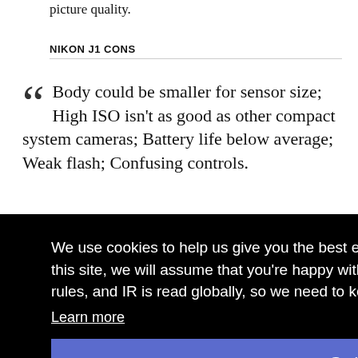picture quality.
NIKON J1 CONS
Body could be smaller for sensor size; High ISO isn't as good as other compact system cameras; Battery life below average; Weak flash; Confusing controls.
We use cookies to help us give you the best experience on IR. If you continue to use this site, we will assume that you're happy with this. This notice is required by recent EU rules, and IR is read globally, so we need to keep the bureaucrats off our case!
Learn more
Got it!
PANASONIC GX85 CONS